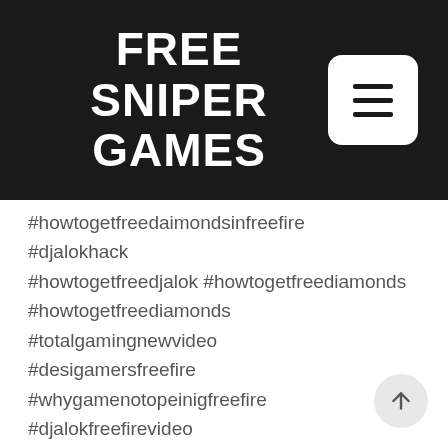FREE SNIPER GAMES
#howtogetfreedaimondsinfreefire
#djalokhack
#howtogetfreedjalok #howtogetfreediamonds
#howtogetfreediamonds
#totalgamingnewvideo
#desigamersfreefire
#whygamenotopeinigfreefire
#djalokfreefirevideo
#freefirecryingmoment
#djalokforeveryone
#djalokgiveaway
#djalokgiveaway
#howtogetdjalok